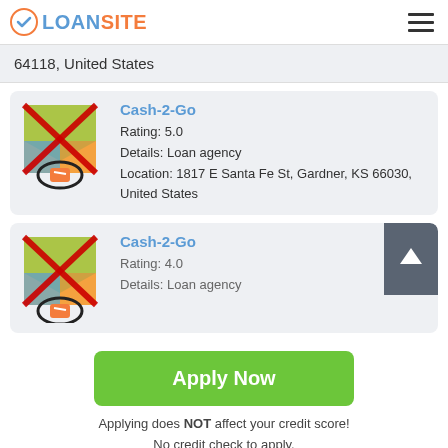LOANSITE
64118, United States
Cash-2-Go
Rating: 5.0
Details: Loan agency
Location: 1817 E Santa Fe St, Gardner, KS 66030, United States
Cash-2-Go
Rating: 4.0
Details: Loan agency
Apply Now
Applying does NOT affect your credit score!
No credit check to apply.